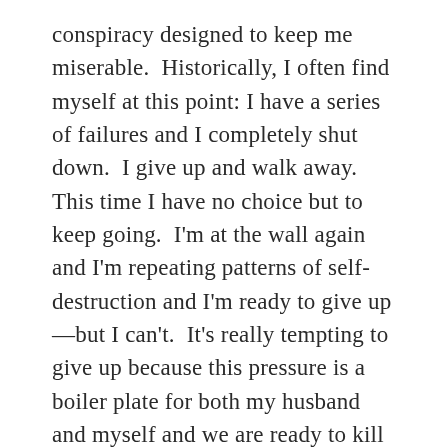conspiracy designed to keep me miserable.  Historically, I often find myself at this point: I have a series of failures and I completely shut down.  I give up and walk away.  This time I have no choice but to keep going.  I'm at the wall again and I'm repeating patterns of self-destruction and I'm ready to give up—but I can't.  It's really tempting to give up because this pressure is a boiler plate for both my husband and myself and we are ready to kill each other.  Yet we are still standing in front of this gate.  Each day we wake up exhausted, but it is always another chance to